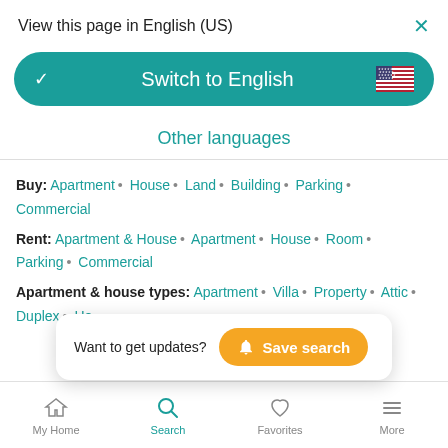View this page in English (US)
[Figure (screenshot): Switch to English button with US flag and teal background]
Other languages
Buy: Apartment • House • Land • Building • Parking • Commercial
Rent: Apartment & House • Apartment • House • Room • Parking • Commercial
Apartment & house types: Apartment • Villa • Property • Attic • Duplex • Ho... • Castle • Chalet • Lo...
[Figure (screenshot): Save search popup with bell icon and yellow button]
My Home | Search | Favorites | More